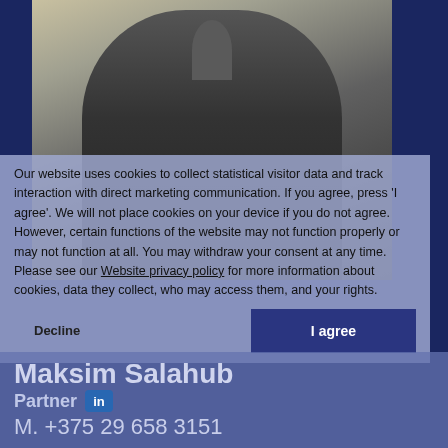[Figure (photo): Professional photo of a man in a dark suit against a light background, partially obscured by a cookie consent overlay.]
Our website uses cookies to collect statistical visitor data and track interaction with direct marketing communication. If you agree, press 'I agree'. We will not place cookies on your device if you do not agree. However, certain functions of the website may not function properly or may not function at all. You may withdraw your consent at any time. Please see our Website privacy policy for more information about cookies, data they collect, who may access them, and your rights.
Decline
I agree
Maksim Salahub
Partner
M. +375 29 658 3151